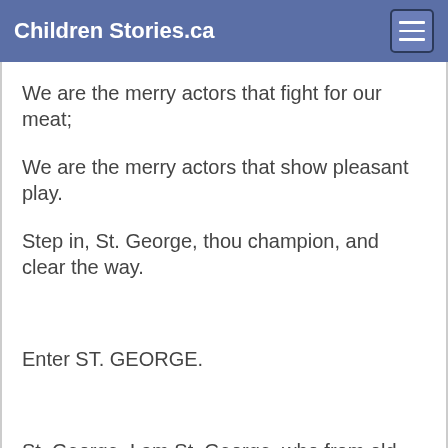Children Stories.ca
We are the merry actors that fight for our meat;
We are the merry actors that show pleasant play.
Step in, St. George, thou champion, and clear the way.
Enter ST. GEORGE.
St. George. I am St. George, who from old England sprung,
My famous name throughout the world hath rung;
Many bloody deeds and wonders have I made known,